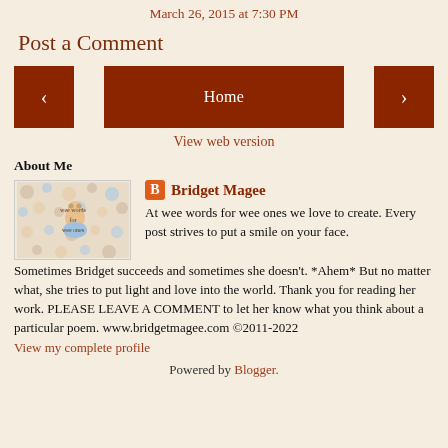March 26, 2015 at 7:30 PM
Post a Comment
[Figure (other): Navigation buttons: left arrow, Home, right arrow]
View web version
About Me
[Figure (illustration): Wee words for wee ones blog profile image with polka dots and cartoon figure]
Bridget Magee
At wee words for wee ones we love to create. Every post strives to put a smile on your face. Sometimes Bridget succeeds and sometimes she doesn't. *Ahem* But no matter what, she tries to put light and love into the world. Thank you for reading her work. PLEASE LEAVE A COMMENT to let her know what you think about a particular poem. www.bridgetmagee.com ©2011-2022
View my complete profile
Powered by Blogger.